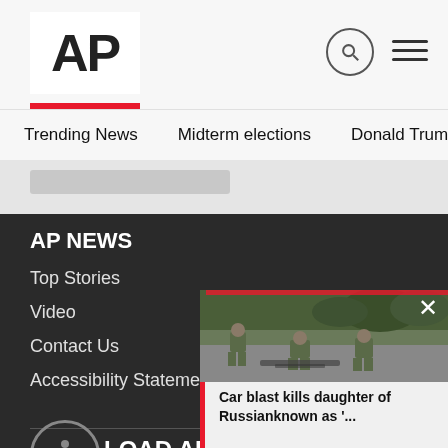AP
Trending News
Midterm elections
Donald Trump
Russia-Ukr
AP NEWS
Top Stories
Video
Contact Us
Accessibility Statement
Cookie Settings
[Figure (photo): Soldiers crouching on a road, outdoor scene]
Car blast kills daughter of Russianknown as '...
DOWNLOAD AP NEWS
Get with the definitive source for g